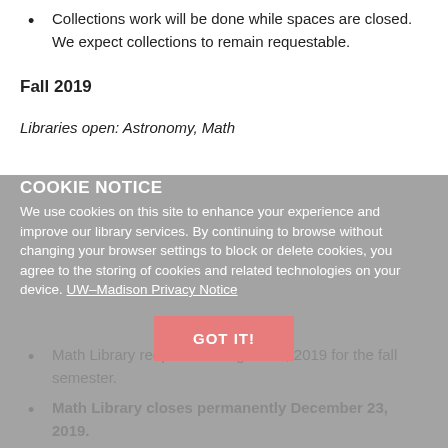Collections work will be done while spaces are closed. We expect collections to remain requestable.
Fall 2019
Libraries open: Astronomy, Math
Math Library reopens on August 26, 2019 for the fall semester.
Math Library closes permanently December 23, 2019.
Collections work will be done while spaces are closed. We expect collections to remain requestable.
Spring 2020
Libraries open: Astronomy Library, NEW: AMP Library
COOKIE NOTICE
We use cookies on this site to enhance your experience and improve our library services. By continuing to browse without changing your browser settings to block or delete cookies, you agree to the storing of cookies and related technologies on your device. UW–Madison Privacy Notice
GOT IT!